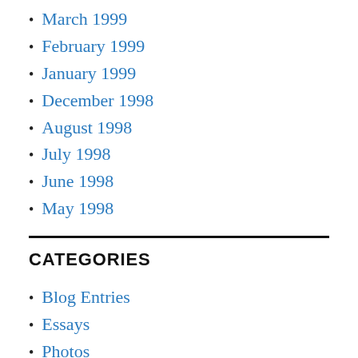March 1999
February 1999
January 1999
December 1998
August 1998
July 1998
June 1998
May 1998
CATEGORIES
Blog Entries
Essays
Photos